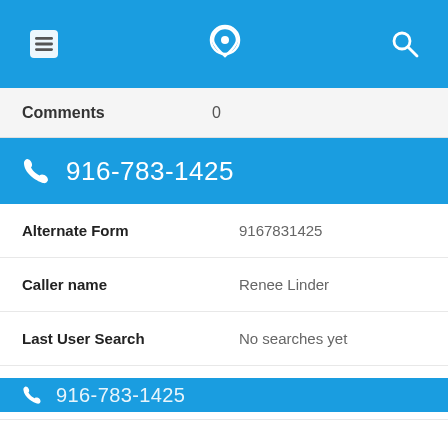[Figure (screenshot): Mobile app navigation bar with hamburger menu icon, phone/location logo icon, and search icon on blue background]
| Field | Value |
| --- | --- |
| Comments | 0 |
916-783-1425
| Field | Value |
| --- | --- |
| Alternate Form | 9167831425 |
| Caller name | Renee Linder |
| Last User Search | No searches yet |
| Comments | 0 |
[Figure (screenshot): Partial bottom section showing phone number 916-783-1425 in blue bar and share buttons: Shares (grey), Email (grey), WhatsApp (green), Facebook (blue)]